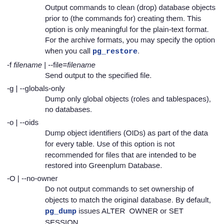Output commands to clean (drop) database objects prior to (the commands for) creating them. This option is only meaningful for the plain-text format. For the archive formats, you may specify the option when you call pg_restore.
-f filename | --file=filename
Send output to the specified file.
-g | --globals-only
Dump only global objects (roles and tablespaces), no databases.
-o | --oids
Dump object identifiers (OIDs) as part of the data for every table. Use of this option is not recommended for files that are intended to be restored into Greenplum Database.
-O | --no-owner
Do not output commands to set ownership of objects to match the original database. By default, pg_dump issues ALTER OWNER or SET SESSION